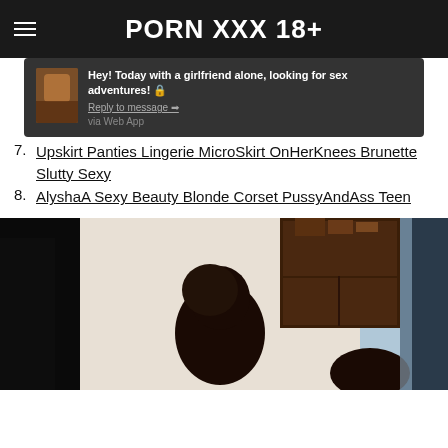PORN XXX 18+
[Figure (screenshot): Dark notification popup with thumbnail image and text: Hey! Today with a girlfriend alone, looking for sex adventures! Reply to message → via Web App]
7. Upskirt Panties Lingerie MicroSkirt OnHerKnees Brunette Slutty Sexy
8. AlyshaA Sexy Beauty Blonde Corset PussyAndAss Teen
[Figure (photo): Dark photo showing a person with dark hair in a room with a wooden cabinet]